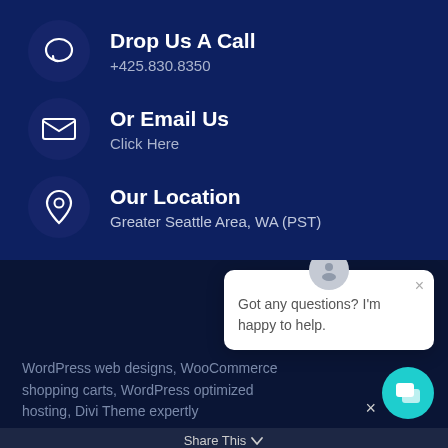Drop Us A Call
+425.830.8350
Or Email Us
Click Here
Our Location
Greater Seattle Area, WA (PST)
Got any questions? I'm happy to help.
WordPress web designs, WooCommerce shopping carts, WordPress optimized hosting, Divi Theme expertly
Share This